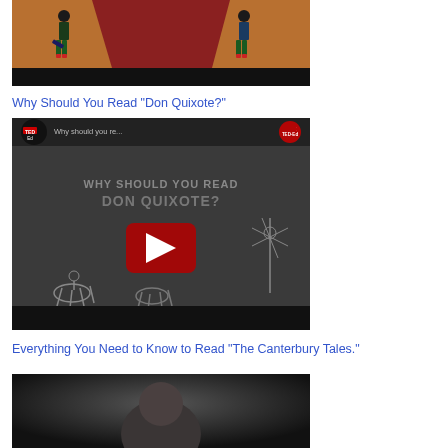[Figure (screenshot): Animated video thumbnail showing stylized figures on a stage with orange/brown background, black bar at bottom]
Why Should You Read "Don Quixote?"
[Figure (screenshot): YouTube video thumbnail for TED-Ed: 'Why should you re... WHY SHOULD YOU READ DON QUIXOTE?' with play button, windmill sketch, horse and rider sketches]
Everything You Need to Know to Read "The Canterbury Tales."
[Figure (screenshot): Partially visible video thumbnail at bottom of page]